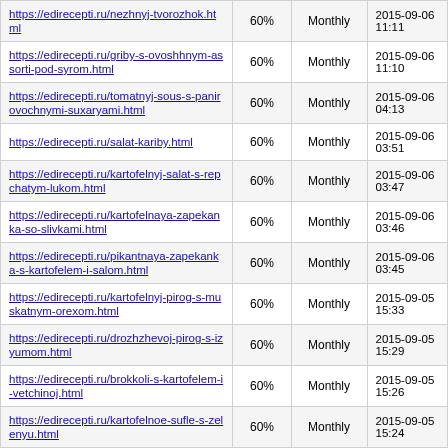| https://edirecepti.ru/nezhnyj-tvorozhok.html | 60% | Monthly | 2015-09-06 11:11 |
| https://edirecepti.ru/griby-s-ovoshhnym-assorti-pod-syrom.html | 60% | Monthly | 2015-09-06 11:10 |
| https://edirecepti.ru/tomatnyj-sous-s-panirovochnymi-suxaryami.html | 60% | Monthly | 2015-09-06 04:13 |
| https://edirecepti.ru/salat-kariby.html | 60% | Monthly | 2015-09-06 03:51 |
| https://edirecepti.ru/kartofelnyj-salat-s-repchatym-lukom.html | 60% | Monthly | 2015-09-06 03:47 |
| https://edirecepti.ru/kartofelnaya-zapekanka-so-slivkami.html | 60% | Monthly | 2015-09-06 03:46 |
| https://edirecepti.ru/pikantnaya-zapekanka-s-kartofelem-i-salom.html | 60% | Monthly | 2015-09-06 03:45 |
| https://edirecepti.ru/kartofelnyj-pirog-s-muskatnym-orexom.html | 60% | Monthly | 2015-09-05 15:33 |
| https://edirecepti.ru/drozhzhevoj-pirog-s-izyumom.html | 60% | Monthly | 2015-09-05 15:29 |
| https://edirecepti.ru/brokkoli-s-kartofelem-i-vetchinoj.html | 60% | Monthly | 2015-09-05 15:26 |
| https://edirecepti.ru/kartofelnoe-sufle-s-zelenyu.html | 60% | Monthly | 2015-09-05 15:24 |
| https://edirecepti.ru/zharkoe-iz-svininy-s-inzhirom.html | 60% | Monthly | 2015-09-05 15:23 |
| https://edirecepti.ru/otbivnye-s-... | 60% | Monthly | 2015-09-05 |